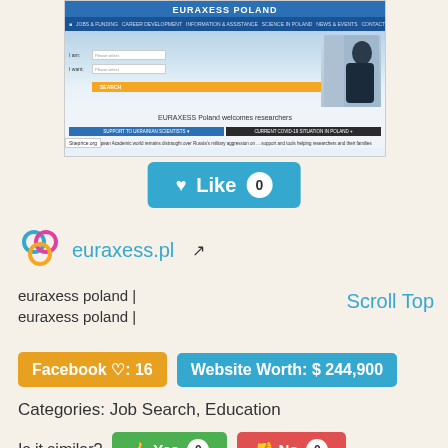[Figure (screenshot): Screenshot of EURAXESS Poland website showing header navigation, search interface, welcome message, and support buttons]
[Figure (other): Like button with heart icon, count 0, teal/blue background]
euraxess.pl [external link icon]
euraxess poland |
euraxess poland |
Scroll Top
Facebook ♡: 16
Website Worth: $ 244,900
Categories: Job Search, Education
Is it similar?
Yes 0
No 0